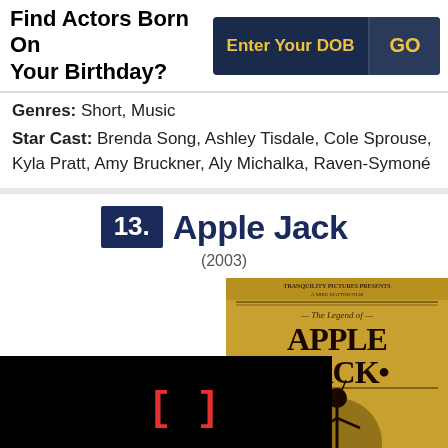Find Actors Born On Your Birthday?
Genres: Short, Music
Star Cast: Brenda Song, Ashley Tisdale, Cole Sprouse, Kyla Pratt, Amy Bruckner, Aly Michalka, Raven-Symoné
13. Apple Jack (2003)
[Figure (photo): Movie poster for Apple Jack (2003) - The Legend of Apple Jack, Tranquility Pictures, with a dark figure illustration on golden background. Partially overlaid with a black panel and bracket icon.]